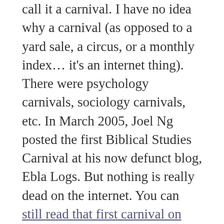call it a carnival. I have no idea why a carnival (as opposed to a yard sale, a circus, or a monthly index… it's an internet thing). There were psychology carnivals, sociology carnivals, etc. In March 2005, Joel Ng posted the first Biblical Studies Carnival at his now defunct blog, Ebla Logs. But nothing is really dead on the internet. You can still read that first carnival on The Wayback Machine. The first link is to Jim Davila, at PaleoJudaica.com, a remarkable blog still going strong after all these years. I notice the one-time keeper of the Biblioblog Top Fifty list, Peter Kirby (although his blog Christian Origins is now